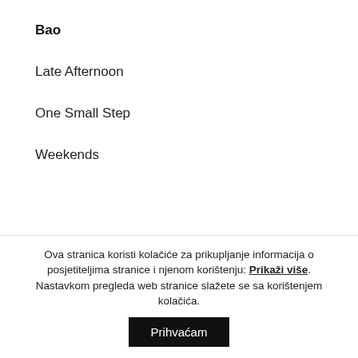Bao
Late Afternoon
One Small Step
Weekends
ANIMIRANI DUGOMETRAŽNI FILM /
Ova stranica koristi kolačiće za prikupljanje informacija o posjetiteljima stranice i njenom korištenju: Prikaži više. Nastavkom pregleda web stranice slažete se sa korištenjem kolačića.
Prihvaćam